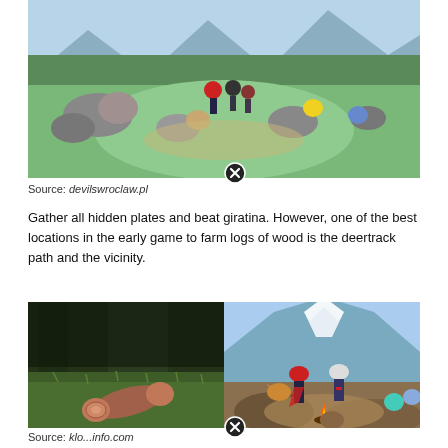[Figure (screenshot): Pokemon Legends Arceus gameplay screenshot showing trainers and Pokemon on grassy terrain with mountains in background. A circular close/delete button (X) is visible at top center.]
Source: devilswroclaw.pl
Gather all hidden plates and beat giratina. However, one of the best locations in the early game to farm logs of wood is the deertrack path and the vicinity.
[Figure (screenshot): Two side-by-side screenshots: left shows a log of wood on grassy ground in a forest area; right shows Pokemon trainers walking near a campfire with Pokemon companions, mountain and blue sky in background. A circular close/delete button (X) is visible at bottom center.]
Source: klo...info.com